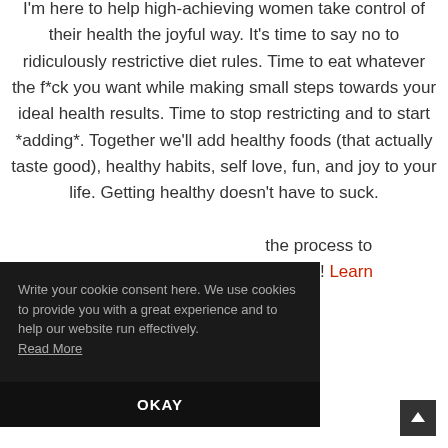I'm here to help high-achieving women take control of their health the joyful way. It's time to say no to ridiculously restrictive diet rules. Time to eat whatever the f*ck you want while making small steps towards your ideal health results. Time to stop restricting and to start *adding*. Together we'll add healthy foods (that actually taste good), healthy habits, self love, fun, and joy to your life. Getting healthy doesn't have to suck. ...the process to ...h now! Learn
Write your cookie consent here. We use cookies to provide you with a great experience and to help our website run effectively. Read More
OKAY